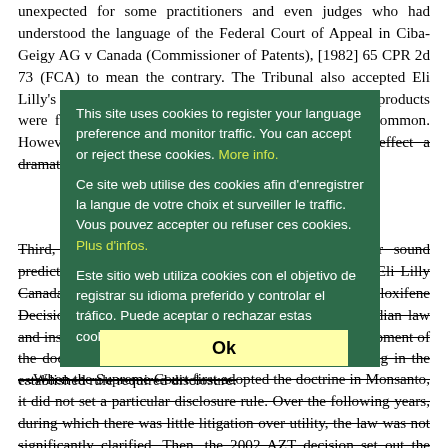unexpected for some practitioners and even judges who had understood the language of the Federal Court of Appeal in Ciba-Geigy AG v Canada (Commissioner of Patents), [1982] 65 CPR 2d 73 (FCA) to mean the contrary. The Tribunal also accepted Eli Lilly's point that, before AZT, no commercially successful products were found to lack utility, whereas now this is not uncommon. However, the Tribunal concluded that AZT did not effect a dramatic change from previously well-established law.
This site uses cookies to register your language preference and monitor traffic. You can accept or reject these cookies. More info.
Ce site web utilise des cookies afin d'enregistrer la langue de votre choix et surveiller le traffic. Vous pouvez accepter ou refuser ces cookies. Plus d'infos.
Este sitio web utiliza cookies con el objetivo de registrar su idioma preferido y controlar el tráfico. Puede aceptar o rechazar estas cookies. Mayor información.
Third, with respect to the disclosure requirement for sound prediction, the Tribunal rejected Eli Lilly's position that Eli Lilly Canada Inc v Apotex Inc et al, 2008 FC 142 ("2008 Raloxifene Decision") radically changed a well-settled rule of Canadian law and instead found that there had been a progressive development of the doctrine of sound prediction over decades, culminating in the established rule required disclosure.
…When the Supreme Court first adopted the doctrine in Monsanto, it did not set a particular disclosure rule. Over the following years, during which there was little litigation over utility, the law was not significantly clarified. Then, the 2002 AZT decision set out the requirements for a sound prediction,